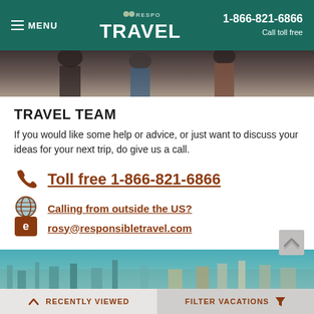MENU | RESPONSIBLE TRAVEL | 1-866-821-6866 Call toll free
[Figure (photo): Partial photo strip of people at top of page]
TRAVEL TEAM
If you would like some help or advice, or just want to discuss your ideas for your next trip, do give us a call.
Toll free 1-866-821-6866
Calling from outside the US?
rosy@responsibletravel.com
[Figure (photo): Aerial cityscape photo at bottom of page]
RECENTLY VIEWED | FILTER VACATIONS